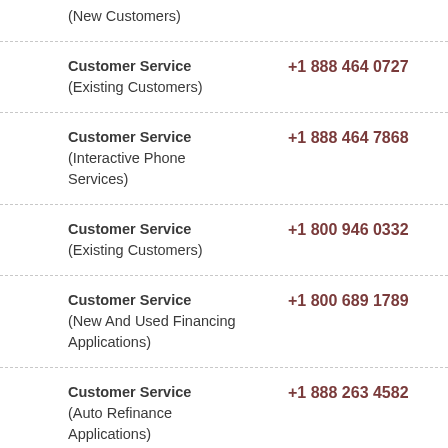(New Customers)
Customer Service (Existing Customers)
+1 888 464 0727
Customer Service (Interactive Phone Services)
+1 888 464 7868
Customer Service (Existing Customers)
+1 800 946 0332
Customer Service (New And Used Financing Applications)
+1 800 689 1789
Customer Service (Auto Refinance Applications)
+1 888 263 4582